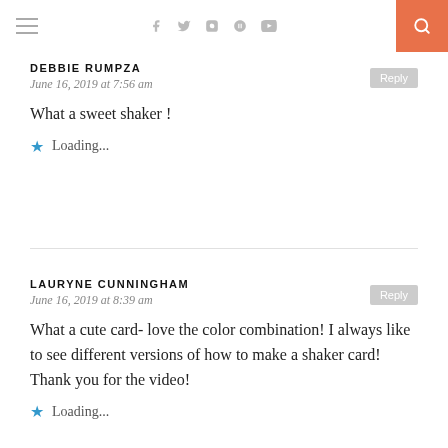Navigation bar with hamburger menu, social icons (facebook, twitter, instagram, pinterest, youtube), and search button
DEBBIE RUMPZA
June 16, 2019 at 7:56 am
What a sweet shaker !
Loading...
LAURYNE CUNNINGHAM
June 16, 2019 at 8:39 am
What a cute card- love the color combination! I always like to see different versions of how to make a shaker card! Thank you for the video!
Loading...